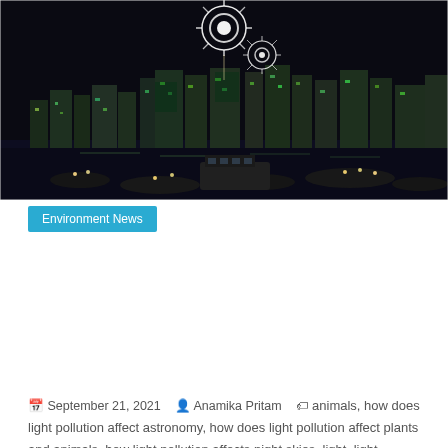[Figure (photo): Night cityscape with fireworks over a harbor; city skyline with brightly lit skyscrapers reflected in water, boats in the foreground, dark sky with fireworks bursting above.]
Environment News
? ? ?
September 21, 2021   Anamika Pritam   animals, how does light pollution affect astronomy, how does light pollution affect plants and animals, how light pollution affects night skies, light, light pollution, light pollution causes and effects, light pollution